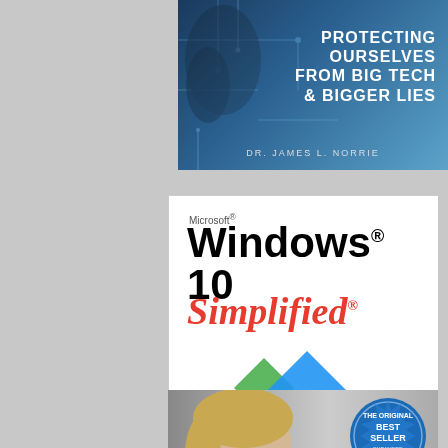[Figure (illustration): Book cover: 'Protecting Ourselves from Big Tech & Bigger Lies' by Dr. James L. Norrie. Dark blue tech/circuit background with white bold text on right side.]
[Figure (illustration): Book cover: Microsoft Windows 10 Simplified. White background with Windows logo diamonds (green, blue, red, yellow). Red italic 'Simplified' text. Tagline: Step-by-step instructions for easy learning. Visual brand logo.]
[Figure (illustration): Book cover: partially visible. Shows a smiling woman with glasses and a blue badge reading 'The Original Best Seller Expanded & Updated'.]